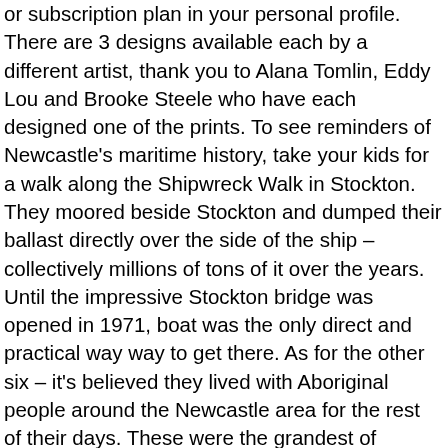or subscription plan in your personal profile. There are 3 designs available each by a different artist, thank you to Alana Tomlin, Eddy Lou and Brooke Steele who have each designed one of the prints. To see reminders of Newcastle's maritime history, take your kids for a walk along the Shipwreck Walk in Stockton. They moored beside Stockton and dumped their ballast directly over the side of the ship – collectively millions of tons of it over the years. Until the impressive Stockton bridge was opened in 1971, boat was the only direct and practical way way to get there. As for the other six – it's believed they lived with Aboriginal people around the Newcastle area for the rest of their days. These were the grandest of merchant sailing ships, built of wood and steel with between three and five huge masts and square sails. Along the length of the walk are plaques which indicate the rough position of each wreck in the structure and the year of its demise. Your email address will not be published. Discover (and save!) There are still reminders of that business with the pirates in the name of the tip of the peninsula near the northern breakwall and in the